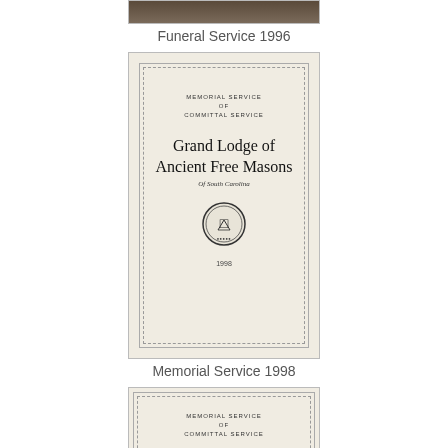[Figure (photo): Partial top of a book or document photo, cut off at top of page]
Funeral Service 1996
[Figure (photo): Cover of Grand Lodge of Ancient Free Masons of South Carolina Memorial Service and Committal Service booklet, 1998, with Masonic seal]
Memorial Service 1998
[Figure (photo): Partial view of another Grand Lodge of Ancient Free Masons booklet cover, similar to the 1998 edition, cut off at bottom of page]